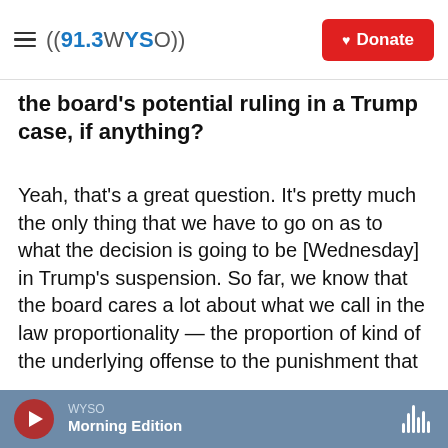91.3 WYSO | Donate
the board's potential ruling in a Trump case, if anything?
Yeah, that's a great question. It's pretty much the only thing that we have to go on as to what the decision is going to be [Wednesday] in Trump's suspension. So far, we know that the board cares a lot about what we call in the law proportionality — the proportion of kind of the underlying offense to the punishment that they're going to have from Facebook, from censorship. And we know that they care a lot about international human rights law, and we know that they care a lot about freedom of
WYSO | Morning Edition